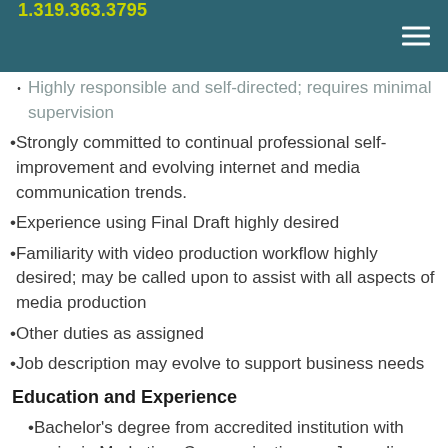1.319.363.3795
Highly responsible and self-directed; requires minimal supervision
Strongly committed to continual professional self-improvement and evolving internet and media communication trends.
Experience using Final Draft highly desired
Familiarity with video production workflow highly desired; may be called upon to assist with all aspects of media production
Other duties as assigned
Job description may evolve to support business needs
Education and Experience
Bachelor's degree from accredited institution with major in Marketing, Communications or Journalism